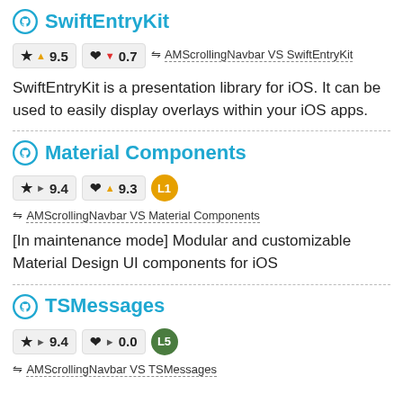SwiftEntryKit
★ ▲ 9.5   ♥ ▼ 0.7   ⇌ AMScrollingNavbar VS SwiftEntryKit
SwiftEntryKit is a presentation library for iOS. It can be used to easily display overlays within your iOS apps.
Material Components
★ ▶ 9.4   ♥ ▲ 9.3   L1   ⇌ AMScrollingNavbar VS Material Components
[In maintenance mode] Modular and customizable Material Design UI components for iOS
TSMessages
★ ▶ 9.4   ♥ ▶ 0.0   L5   ⇌ AMScrollingNavbar VS TSMessages